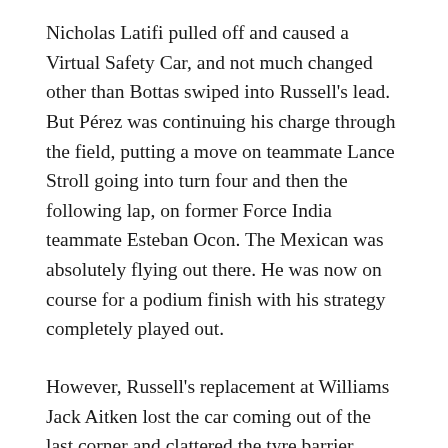Nicholas Latifi pulled off and caused a Virtual Safety Car, and not much changed other than Bottas swiped into Russell's lead. But Pérez was continuing his charge through the field, putting a move on teammate Lance Stroll going into turn four and then the following lap, on former Force India teammate Esteban Ocon. The Mexican was absolutely flying out there. He was now on course for a podium finish with his strategy completely played out.
However, Russell's replacement at Williams Jack Aitken lost the car coming out of the last corner and clattered the tyre barrier, leaving his front wing on the track and he dove for the pits. A Virtual Safety Car was initially called, but that became a full Safety